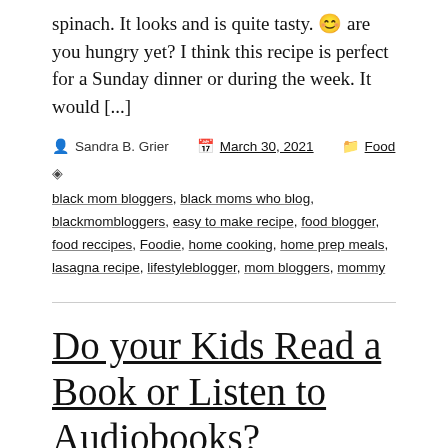spinach. It looks and is quite tasty. 😊 are you hungry yet? I think this recipe is perfect for a Sunday dinner or during the week. It would [...]
By Sandra B. Grier  |  March 30, 2021  |  Food
Tags: black mom bloggers, black moms who blog, blackmombloggers, easy to make recipe, food blogger, food reccipes, Foodie, home cooking, home prep meals, lasagna recipe, lifestyleblogger, mom bloggers, mommy
Do your Kids Read a Book or Listen to Audiobooks?